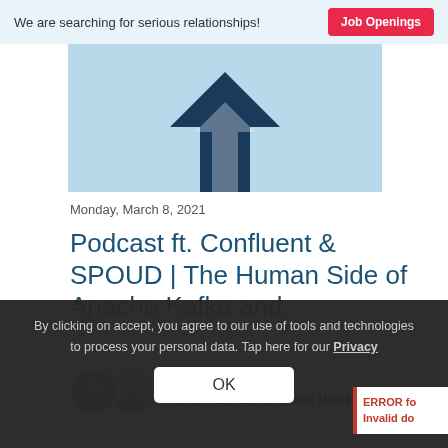We are searching for serious relationships! Job Openings
[Figure (illustration): Partial logo/illustration of a dark blue arrow/pointer shape on a light blue background]
Monday, March 8, 2021
Podcast ft. Confluent & SPOUD | The Human Side of Apache Kafka and...
Speakers
Patrick Bönzli, Samuel Benz
By clicking on accept, you agree to our use of tools and technologies to process your personal data. Tap here for our Privacy
OK
ERROR fo
Invalid do